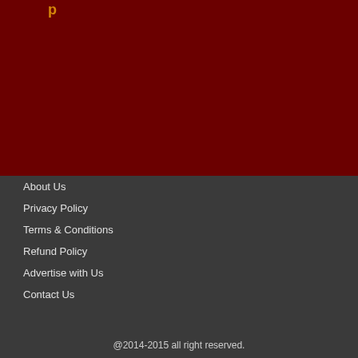[Figure (other): Dark red background area occupying the upper portion of the page, with a small gold/orange accent text visible at top left]
About Us
Privacy Policy
Terms & Conditions
Refund Policy
Advertise with Us
Contact Us
@2014-2015 all right reserved.